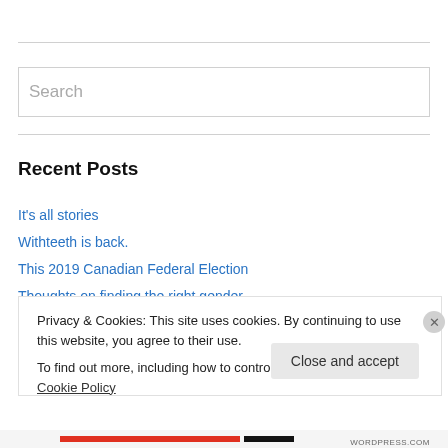Search
Recent Posts
It's all stories
Withteeth is back.
This 2019 Canadian Federal Election
Thoughts on finding the right gender.
Privacy & Cookies: This site uses cookies. By continuing to use this website, you agree to their use.
To find out more, including how to control cookies, see here: Cookie Policy
Close and accept